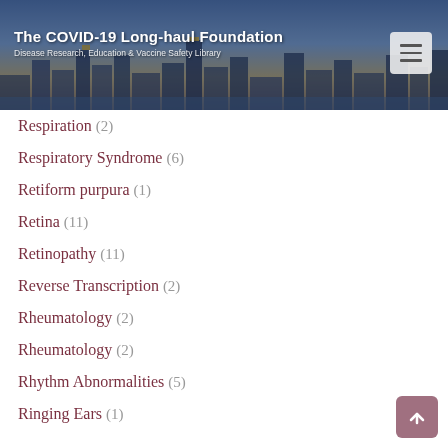The COVID-19 Long-haul Foundation — Disease Research, Education & Vaccine Safety Library
Respiration (2)
Respiratory Syndrome (6)
Retiform purpura (1)
Retina (11)
Retinopathy (11)
Reverse Transcription (2)
Rheumatology (2)
Rheumatology (2)
Rhythm Abnormalities (5)
Ringing Ears (1)